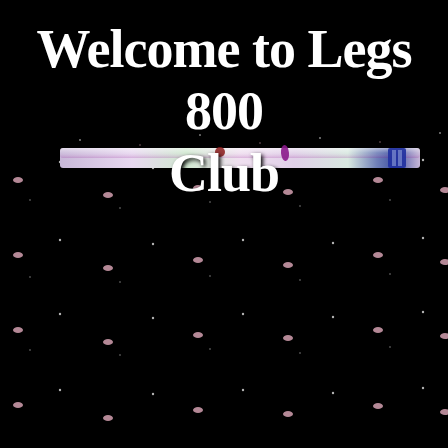Welcome to Legs 800 Club
[Figure (illustration): Black background with scattered small pink/white dot pattern resembling stars or lights, and a horizontal iridescent/holographic bar element across the middle upper portion of the image]